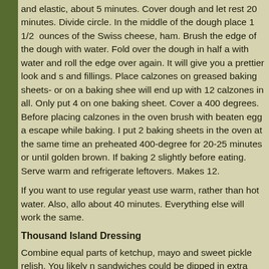and elastic, about 5 minutes. Cover dough and let rest 20 minutes. Divide circle. In the middle of the dough place 1 1/2 ounces of the Swiss cheese, ham. Brush the edge of the dough with water. Fold over the dough in half a with water and roll the edge over again. It will give you a prettier look and s and fillings. Place calzones on greased baking sheets- or on a baking shee will end up with 12 calzones in all. Only put 4 on one baking sheet. Cover a 400 degrees. Before placing calzones in the oven brush with beaten egg a escape while baking. I put 2 baking sheets in the oven at the same time an preheated 400-degree for 20-25 minutes or until golden brown. If baking 2 slightly before eating. Serve warm and refrigerate leftovers. Makes 12.
If you want to use regular yeast use warm, rather than hot water. Also, allo about 40 minutes. Everything else will work the same.
Thousand Island Dressing
Combine equal parts of ketchup, mayo and sweet pickle relish. You likely n sandwiches could be dipped in extra dressing, if desired.
Tortellini and Ham Sal
¼ c. olive oil
¼ c. red wine vinegar
1 t. fresh rosemary
1 clove garlic, minced
1 t. sugar, optional
1/2 t. red pepper flakes